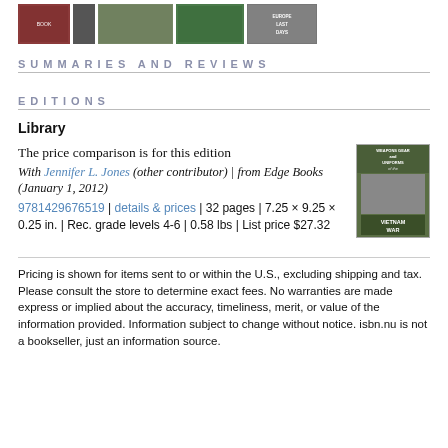[Figure (illustration): Row of book cover thumbnails at the top of the page]
SUMMARIES AND REVIEWS
EDITIONS
Library
The price comparison is for this edition
With Jennifer L. Jones (other contributor) | from Edge Books (January 1, 2012)
9781429676519 | details & prices | 32 pages | 7.25 × 9.25 × 0.25 in. | Rec. grade levels 4-6 | 0.58 lbs | List price $27.32
[Figure (photo): Book cover thumbnail for Vietnam War weapons gear uniforms book]
Pricing is shown for items sent to or within the U.S., excluding shipping and tax. Please consult the store to determine exact fees. No warranties are made express or implied about the accuracy, timeliness, merit, or value of the information provided. Information subject to change without notice. isbn.nu is not a bookseller, just an information source.